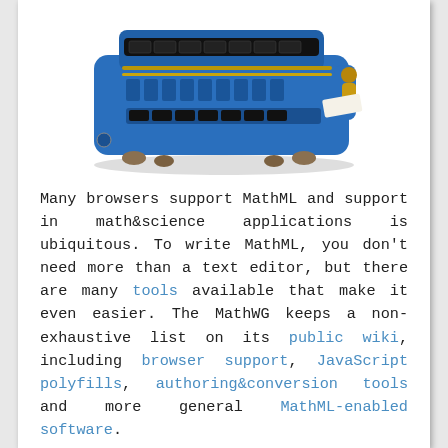[Figure (photo): A blue vintage mechanical calculating machine (arithmometer/calculator) photographed from above-front angle, showing its metallic keys, dials, and crank handle on a white background.]
Many browsers support MathML and support in math&science applications is ubiquitous. To write MathML, you don't need more than a text editor, but there are many tools available that make it even easier. The MathWG keeps a non-exhaustive list on its public wiki, including browser support, JavaScript polyfills, authoring&conversion tools and more general MathML-enabled software.
Of course, nearly all software has bugs. And some programs are further ahead implementing MathML 3 than others.